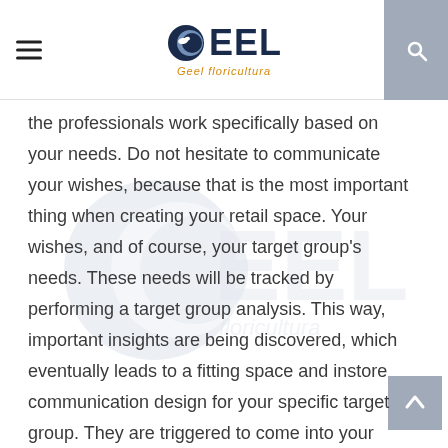GEEL — Geel Floricultura
the professionals work specifically based on your needs. Do not hesitate to communicate your wishes, because that is the most important thing when creating your retail space. Your wishes, and of course, your target group’s needs. These needs will be tracked by performing a target group analysis. This way, important insights are being discovered, which eventually leads to a fitting space and instore communication design for your specific target group. They are triggered to come into your shop.